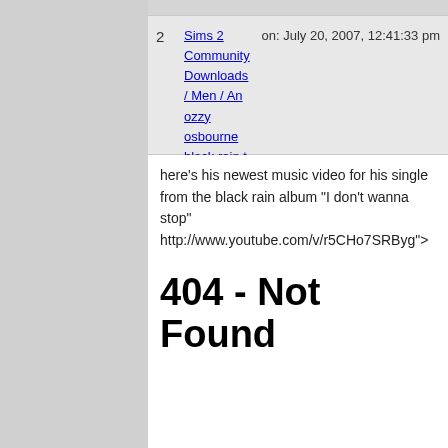2  Sims 2 Community Downloads / Men / An ozzy osbourne black rain t-shirt   on: July 20, 2007, 12:41:33 pm
here's his newest music video for his single from the black rain album "I don't wanna stop" http://www.youtube.com/v/r5CHo7SRByg">
404 - Not Found
http://www.youtube.com/v/r5CHo7SRByg" type="application/x-shockwave-flash" wmode="transparent" width="425" height="350">
3  Sims 2 Community Downloads / Men / blue oyster cult t-shirt   on: July 16, 2007, 05:35:06 pm
here's a blue oyster cult t-shirt